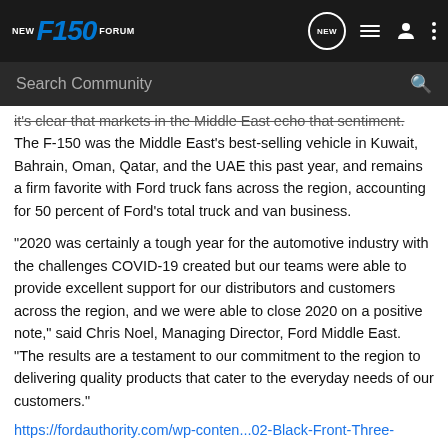NEW F150 FORUM
Search Community
it's clear that markets in the Middle East echo that sentiment. The F-150 was the Middle East's best-selling vehicle in Kuwait, Bahrain, Oman, Qatar, and the UAE this past year, and remains a firm favorite with Ford truck fans across the region, accounting for 50 percent of Ford's total truck and van business.
“2020 was certainly a tough year for the automotive industry with the challenges COVID-19 created but our teams were able to provide excellent support for our distributors and customers across the region, and we were able to close 2020 on a positive note,” said Chris Noel, Managing Director, Ford Middle East. “The results are a testament to our commitment to the region to delivering quality products that cater to the everyday needs of our customers.”
https://fordauthority.com/wp-conten...02-Black-Front-Three-